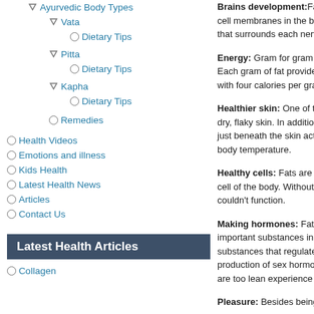Ayurvedic Body Types
Vata
Dietary Tips
Pitta
Dietary Tips
Kapha
Dietary Tips
Remedies
Health Videos
Emotions and illness
Kids Health
Latest Health News
Articles
Contact Us
Latest Health Articles
Collagen
Brains development: Fat provides the building blocks for cell membranes in the brain, including the myelin sheath that surrounds each nerve fib...
Energy: Gram for gram fats are the richest source of energy. Each gram of fat provides nine calories, compared with four calories per gram of...
Healthier skin: One of the most visible signs of deficiency is dry, flaky skin. In addition to giving skin its appearance, fat just beneath the skin acts as... body temperature.
Healthy cells: Fats are a vital part of the membrane that surrounds every cell of the body. Without a healthy cell membrane, cells couldn't function.
Making hormones: Fats are used to make important substances in the b... substances that regulate ma... production of sex hormones,... are too lean experience delay...
Pleasure: Besides being...